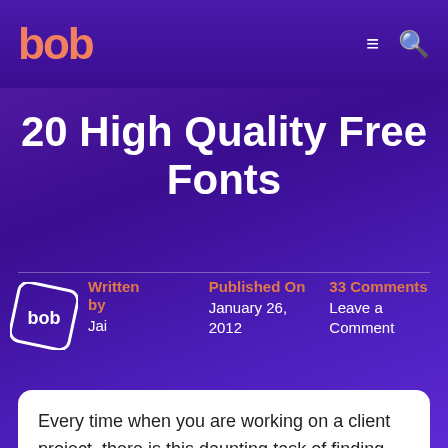bob | 20 High Quality Free Fonts
20 High Quality Free Fonts
Written by Jai | Published On January 26, 2012 | 33 Comments Leave a Comment
Every time when you are working on a client project, there is this daunting task of finding fresh high quality fonts from the internet (fonts...)